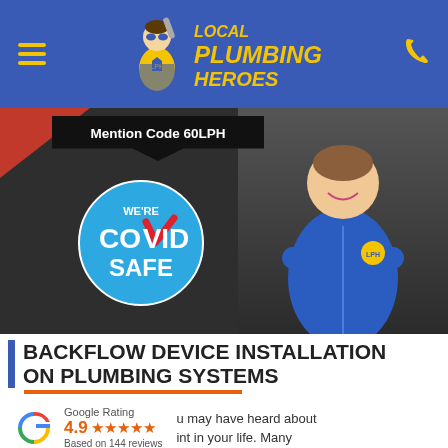Local Plumbing Heroes — navigation header with hamburger menu and phone icon
[Figure (screenshot): Hero banner with dark background, 'Mention Code 60LPH' speech bubble, COVID Safe badge (circular blue badge with checkmark), and a plumber in blue uniform with arms crossed]
BACKFLOW DEVICE INSTALLATION ON PLUMBING SYSTEMS
[Figure (logo): Google G logo (multicolor: red, yellow, green, blue)]
Google Rating
4.9 ★★★★★
Based on 144 reviews
u may have heard about int in your life. Many